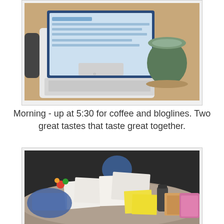[Figure (photo): A white laptop open on a wooden table with a ceramic mug of coffee to the right]
Morning - up at 5:30 for coffee and bloglines. Two great tastes that taste great together.
[Figure (photo): A round table with papers, documents, a pink basket, a thermos, and various items spread across it]